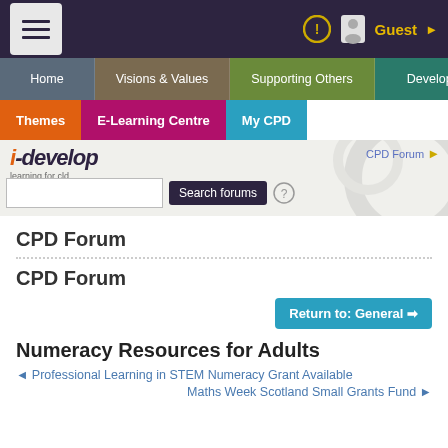Guest
Home | Visions & Values | Supporting Others | Developing the Self
Themes | E-Learning Centre | My CPD
[Figure (screenshot): i-develop learning for cld logo with CPD Forum breadcrumb and search bar]
CPD Forum
CPD Forum
Return to: General
Numeracy Resources for Adults
◄ Professional Learning in STEM Numeracy Grant Available
Maths Week Scotland Small Grants Fund ►